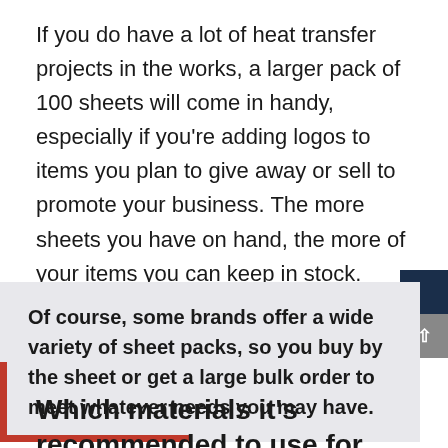If you do have a lot of heat transfer projects in the works, a larger pack of 100 sheets will come in handy, especially if you’re adding logos to items you plan to give away or sell to promote your business. The more sheets you have on hand, the more of your items you can keep in stock.
Of course, some brands offer a wide variety of sheet packs, so you buy by the sheet or get a large bulk order to meet whatever needs you may have.
Which materials it’s recommended to use for